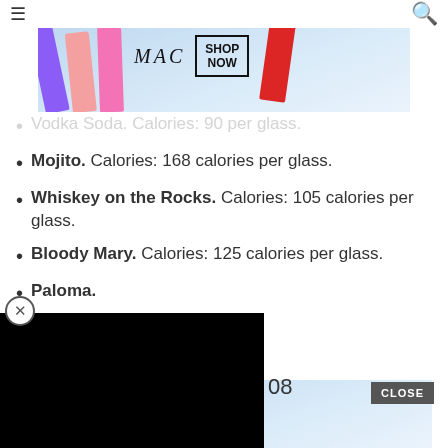[Figure (screenshot): MAC cosmetics advertisement banner at top with lipsticks and SHOP NOW button]
Vodka Soda. Calories: 90 per glass.
Mojito. Calories: 168 calories per glass.
Whiskey on the Rocks. Calories: 105 calories per glass.
Bloody Mary. Calories: 125 calories per glass.
Paloma.
[Figure (screenshot): Black video player overlay covering part of the page content]
iunite Lambrusco
08
FEATURED VIDEOS
[Figure (screenshot): MAC cosmetics advertisement banner at bottom with lipsticks and SHOP NOW button]